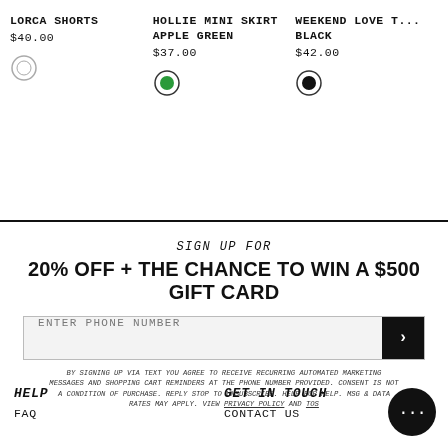LORCA SHORTS
$40.00
HOLLIE MINI SKIRT APPLE GREEN
$37.00
WEEKEND LOVE T... BLACK
$42.00
SIGN UP FOR
20% OFF + THE CHANCE TO WIN A $500 GIFT CARD
ENTER PHONE NUMBER
BY SIGNING UP VIA TEXT YOU AGREE TO RECEIVE RECURRING AUTOMATED MARKETING MESSAGES AND SHOPPING CART REMINDERS AT THE PHONE NUMBER PROVIDED. CONSENT IS NOT A CONDITION OF PURCHASE. REPLY STOP TO UNSUBSCRIBE. HELP FOR HELP. MSG & DATA RATES MAY APPLY. VIEW PRIVACY POLICY AND TOS
HELP
FAQ
GET IN TOUCH
CONTACT US